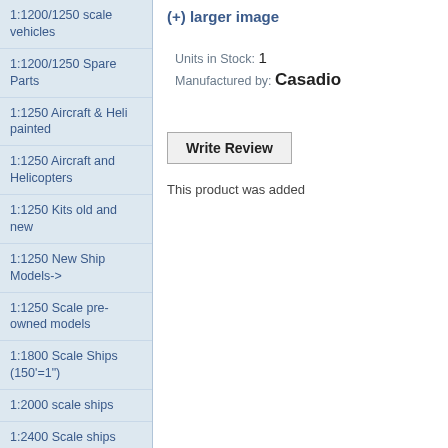1:1200/1250 scale vehicles
1:1200/1250 Spare Parts
1:1250 Aircraft & Heli painted
1:1250 Aircraft and Helicopters
1:1250 Kits old and new
1:1250 New Ship Models->
1:1250 Scale pre-owned models
1:1800 Scale Ships (150'=1")
1:2000 scale ships
1:2400 Scale ships
1:300 Scale aircraft
1:300 scale military vehicles
1:300 Scale Ships and parts
(+) larger image
Units in Stock: 1
Manufactured by: Casadio
Write Review
This product was added